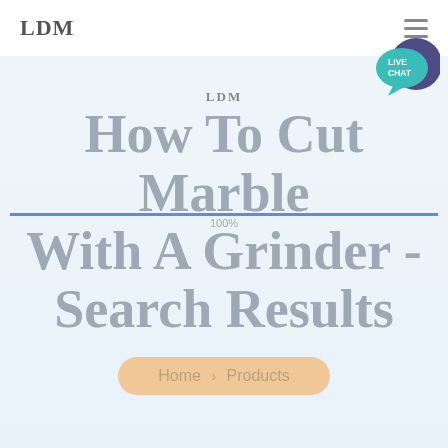LDM
[Figure (illustration): Live Chat bubble icon in teal/turquoise with speech bubble and dark blue circle overlay, positioned top-right]
LDM
How To Cut Marble With A Grinder - Search Results
Home > Products